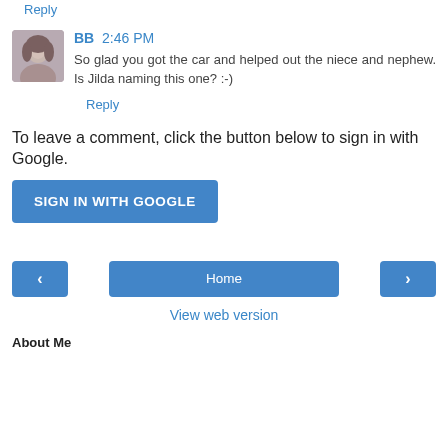Reply
BB  2:46 PM
So glad you got the car and helped out the niece and nephew. Is Jilda naming this one? :-)
Reply
To leave a comment, click the button below to sign in with Google.
SIGN IN WITH GOOGLE
Home
View web version
About Me